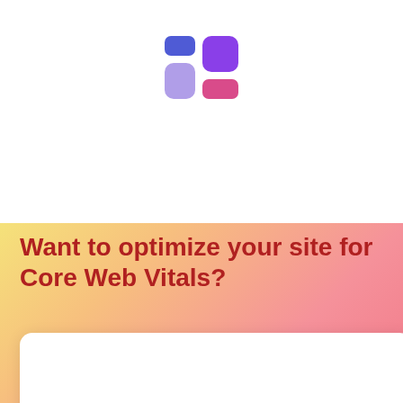[Figure (logo): App logo made of four rounded rectangles arranged in a 2x2 grid: top-left blue, top-right purple/violet, bottom-left lavender, bottom-right pink/magenta]
Want to optimize your site for Core Web Vitals?
[Figure (other): White card area at the bottom of the page with a rounded scroll-up button on the right side containing an upward chevron arrow]